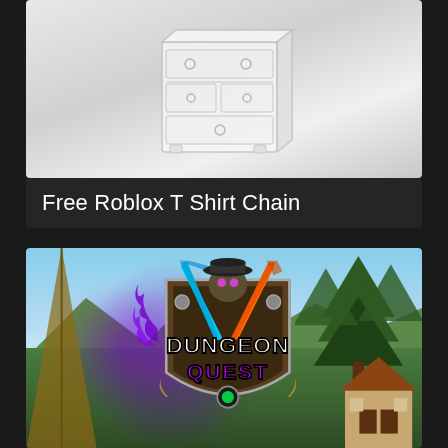[Figure (screenshot): Screenshot of a white dresser/furniture item from Roblox, shown on a light gray background]
Free Roblox T Shirt Chain
[Figure (screenshot): Dungeon Quest Roblox game thumbnail featuring the Dungeon Quest logo (shield with crossed sword and arrow, purple magical effects) against a fantasy landscape with trees, mountains, and a village building]